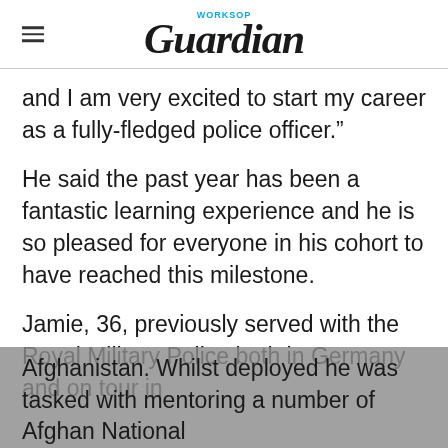WORKSOP Guardian
and I am very excited to start my career as a fully-fledged police officer."
He said the past year has been a fantastic learning experience and he is so pleased for everyone in his cohort to have reached this milestone.
Jamie, 36, previously served with the Royal Military Police both in Germany and on tour in Afghanistan. Whilst deployed he was tasked with mentoring a number of Afghan National